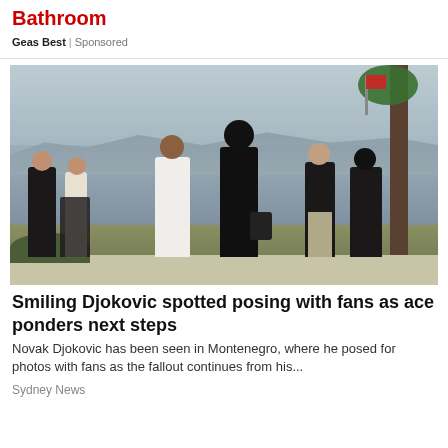Bathroom
Geas Best | Sponsored
[Figure (photo): Group of people walking along a waterfront promenade on an overcast day. Several individuals in dark jackets and one in a white hoodie are visible, with a bay, distant hills, and a palm tree in the background.]
Smiling Djokovic spotted posing with fans as ace ponders next steps
Novak Djokovic has been seen in Montenegro, where he posed for photos with fans as the fallout continues from his...
Sydney News